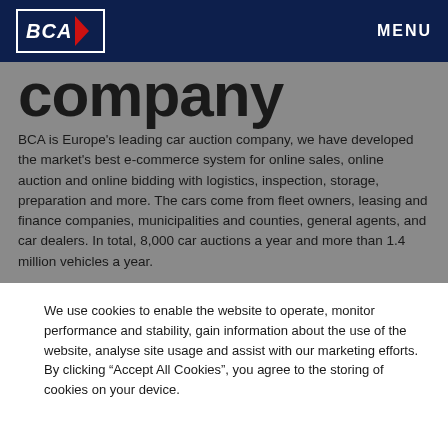[Figure (logo): BCA logo — dark navy box with white italic BCA text and red chevron/slash]
MENU
company
BCA is Europe's leading car auction company, we have developed the market's best e-commerce system for online sales, online auction and online bidding with logistics, inspection, storage, preparation and more. The cars come from fleet owners, leasing and finance companies, municipalities and counties, general agents, and car dealers. In total, 8,000 car auctions a year and more than 1.4 million vehicles a year.
On-Line Auctions - BCA Car Auction
Every week, 100's of cars change owners on our On-Line auctions on the Internet. More and more car dealers in Sweden go brand new with BCA and have understood the importance of having "the right" used cars in stock to increase their revenues. Those who discovered this way of shopping with
We use cookies to enable the website to operate, monitor performance and stability, gain information about the use of the website, analyse site usage and assist with our marketing efforts. By clicking “Accept All Cookies”, you agree to the storing of cookies on your device.